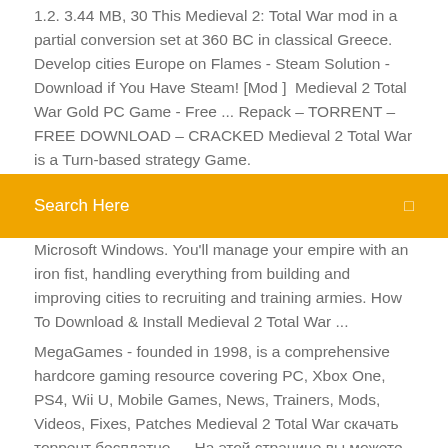1.2. 3.44 MB, 30 This Medieval 2: Total War mod in a partial conversion set at 360 BC in classical Greece. Develop cities Europe on Flames - Steam Solution - Download if You Have Steam! [Mod ]  Medieval 2 Total War Gold PC Game - Free ... Repack – TORRENT – FREE DOWNLOAD – CRACKED Medieval 2 Total War is a Turn-based strategy Game.
Search Here
Microsoft Windows. You'll manage your empire with an iron fist, handling everything from building and improving cities to recruiting and training armies. How To Download & Install Medieval 2 Total War ...
MegaGames - founded in 1998, is a comprehensive hardcore gaming resource covering PC, Xbox One, PS4, Wii U, Mobile Games, News, Trainers, Mods, Videos, Fixes, Patches Medieval 2 Total War скачать торрент бесплатно … На этой странице вы можете скачать игру Medieval 2 Total War через торрент